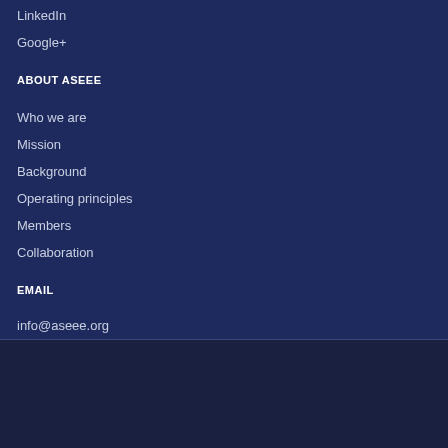LinkedIn
Google+
ABOUT ASEEE
Who we are
Mission
Background
Operating principles
Members
Collaboration
EMAIL
info@aseee.org